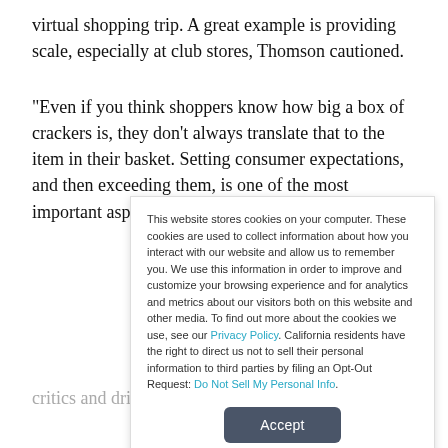virtual shopping trip. A great example is providing scale, especially at club stores, Thomson cautioned.
“Even if you think shoppers know how big a box of crackers is, they don’t always translate that to the item in their basket. Setting consumer expectations, and then exceeding them, is one of the most important aspects of driving reviews that
This website stores cookies on your computer. These cookies are used to collect information about how you interact with our website and allow us to remember you. We use this information in order to improve and customize your browsing experience and for analytics and metrics about our visitors both on this website and other media. To find out more about the cookies we use, see our Privacy Policy. California residents have the right to direct us not to sell their personal information to third parties by filing an Opt-Out Request: Do Not Sell My Personal Info.
Accept